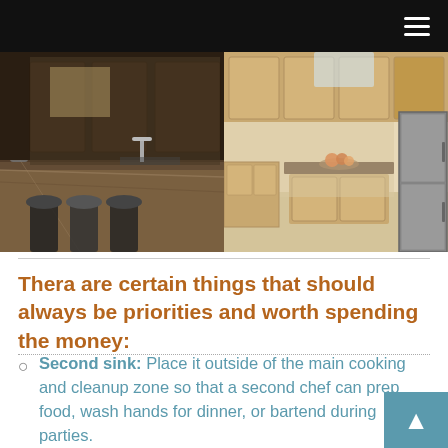Navigation bar with hamburger menu
[Figure (photo): Two side-by-side kitchen photos: left shows a dark granite countertop kitchen island with bar stools and flowers; right shows a bright kitchen with light wood cabinets, granite island, and stainless steel refrigerator.]
Thera are certain things that should always be priorities and worth spending the money:
Second sink: Place it outside of the main cooking and cleanup zone so that a second chef can prep food, wash hands for dinner, or bartend during parties.
Paneled cabinet ends: These decorative panels,